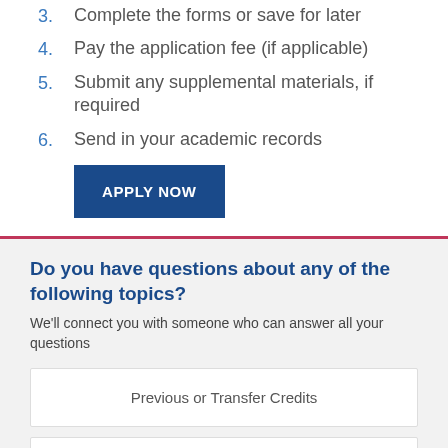3. Complete the forms or save for later
4. Pay the application fee (if applicable)
5. Submit any supplemental materials, if required
6. Send in your academic records
APPLY NOW
Do you have questions about any of the following topics?
We'll connect you with someone who can answer all your questions
Previous or Transfer Credits
Admission Requirements